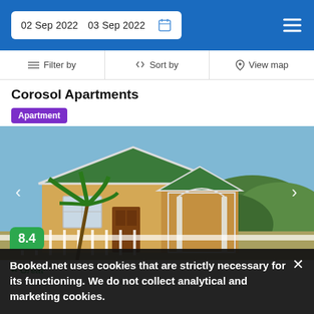02 Sep 2022  03 Sep 2022
Filter by  Sort by  View map
Corosol Apartments
Apartment
[Figure (photo): Exterior photo of Corosol Apartments showing a yellow/tan single-story house with green roof, white fence, palm trees, and blue sky background. Score badge 8.4 in green shown bottom-left.]
Great
Booked.net uses cookies that are strictly necessary for its functioning. We do not collect analytical and marketing cookies.
4.9 mi from Loubiere